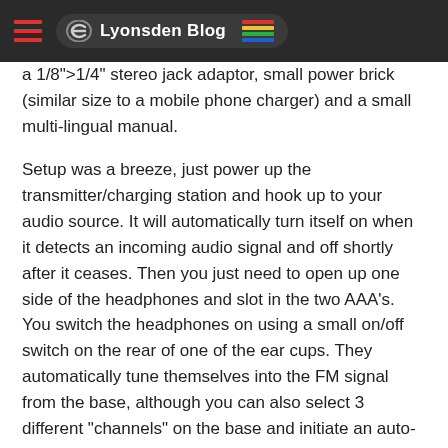Lyonsden Blog
a 1/8">1/4" stereo jack adaptor, small power brick (similar size to a mobile phone charger) and a small multi-lingual manual.
Setup was a breeze, just power up the transmitter/charging station and hook up to your audio source. It will automatically turn itself on when it detects an incoming audio signal and off shortly after it ceases. Then you just need to open up one side of the headphones and slot in the two AAA's. You switch the headphones on using a small on/off switch on the rear of one of the ear cups. They automatically tune themselves into the FM signal from the base, although you can also select 3 different "channels" on the base and initiate an auto-tune from a small button on the 'phones themselves if you need to. It recommends you charge the batteries for